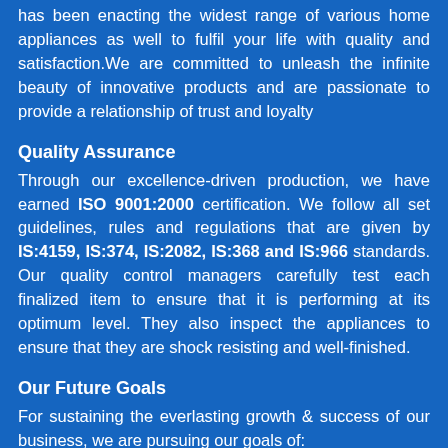has been enacting the widest range of various home appliances as well to fulfil your life with quality and satisfaction.We are committed to unleash the infinite beauty of innovative products and are passionate to provide a relationship of trust and loyalty
Quality Assurance
Through our excellence-driven production, we have earned ISO 9001:2000 certification. We follow all set guidelines, rules and regulations that are given by IS:4159, IS:374, IS:2082, IS:368 and IS:966 standards. Our quality control managers carefully test each finalized item to ensure that it is performing at its optimum level. They also inspect the appliances to ensure that they are shock resisting and well-finished.
Our Future Goals
For sustaining the everlasting growth & success of our business, we are pursuing our goals of: